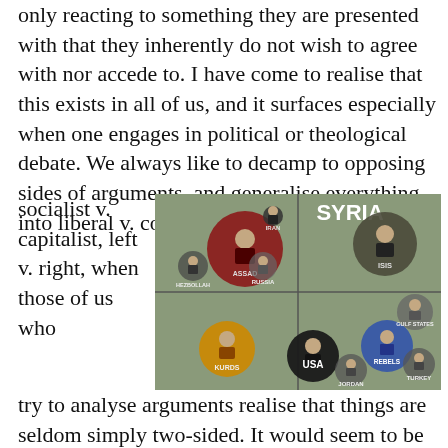only reacting to something they are presented with that they inherently do not wish to agree with nor accede to. I have come to realise that this exists in all of us, and it surfaces especially when one engages in political or theological debate. We always like to decamp to opposing sides of arguments, and generalise everything into liberal v. conservative, socialist v. capitalist, left v. right, when those of us who try to analyse arguments realise that things are seldom simply two-sided. It would seem to be human nature – it is the foundation of sport, and the most popular forms of spectator sports would appear to be head-to-head battles between two individuals or two
[Figure (infographic): Syria conflict infographic showing factions: Iran, Assad (red circle), Hezbollah, Russia on left side; ISIS (dark circle) top right; Kurds (orange circle), USA (black circle), Jordan, Rebels (blue circle), Gulf States, Turkey on bottom right. Title: SYRIA.]